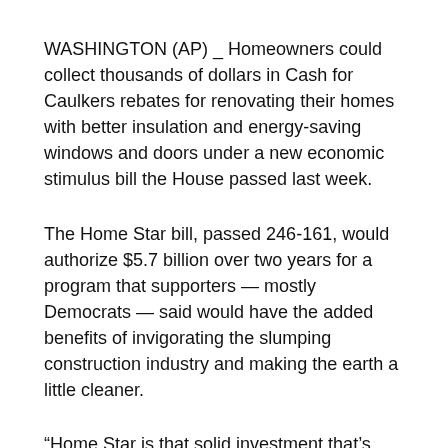WASHINGTON (AP) _ Homeowners could collect thousands of dollars in Cash for Caulkers rebates for renovating their homes with better insulation and energy-saving windows and doors under a new economic stimulus bill the House passed last week.
The Home Star bill, passed 246-161, would authorize $5.7 billion over two years for a program that supporters — mostly Democrats — said would have the added benefits of invigorating the slumping construction industry and making the earth a little cleaner.
“Home Star is that solid investment that’s going to achieve that hat trick of energy savings for the